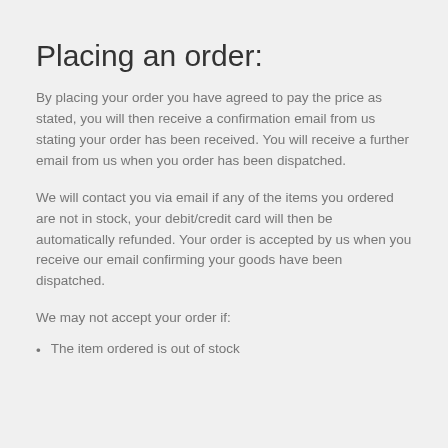Placing an order:
By placing your order you have agreed to pay the price as stated, you will then receive a confirmation email from us stating your order has been received. You will receive a further email from us when you order has been dispatched.
We will contact you via email if any of the items you ordered are not in stock, your debit/credit card will then be automatically refunded. Your order is accepted by us when you receive our email confirming your goods have been dispatched.
We may not accept your order if:
The item ordered is out of stock